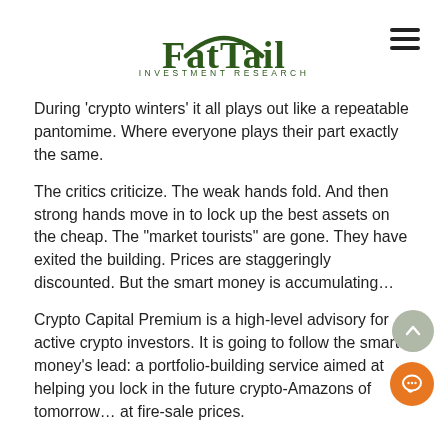[Figure (logo): FatTail Investment Research logo with green arch above text and tagline below]
During ‘crypto winters’ it all plays out like a repeatable pantomime. Where everyone plays their part exactly the same.
The critics criticize. The weak hands fold. And then strong hands move in to lock up the best assets on the cheap. The “market tourists” are gone. They have exited the building. Prices are staggeringly discounted. But the smart money is accumulating…
Crypto Capital Premium is a high-level advisory for active crypto investors. It is going to follow the smart money’s lead: a portfolio-building service aimed at helping you lock in the future crypto-Amazons of tomorrow… at fire-sale prices.